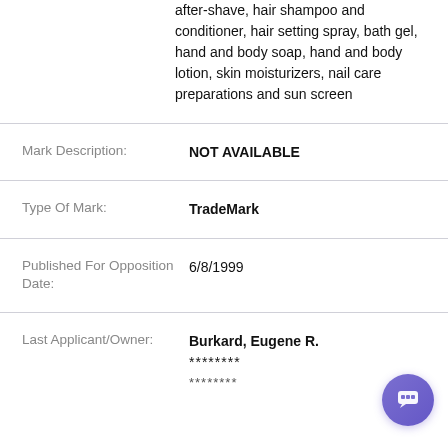after-shave, hair shampoo and conditioner, hair setting spray, bath gel, hand and body soap, hand and body lotion, skin moisturizers, nail care preparations and sun screen
| Field | Value |
| --- | --- |
| Mark Description: | NOT AVAILABLE |
| Type Of Mark: | TradeMark |
| Published For Opposition Date: | 6/8/1999 |
| Last Applicant/Owner: | Burkard, Eugene R.
********
******** |